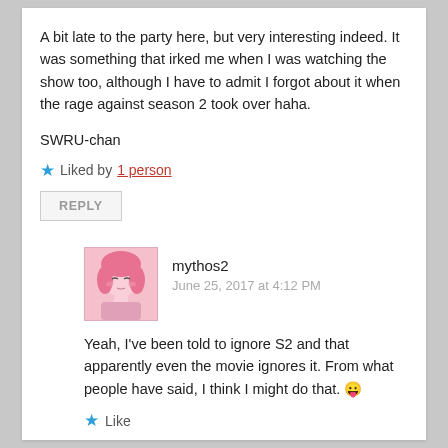A bit late to the party here, but very interesting indeed. It was something that irked me when I was watching the show too, although I have to admit I forgot about it when the rage against season 2 took over haha.
SWRU-chan
★ Liked by 1 person
REPLY
mythos2
June 25, 2017 at 4:12 PM
Yeah, I've been told to ignore S2 and that apparently even the movie ignores it. From what people have said, I think I might do that. 😛
★ Like